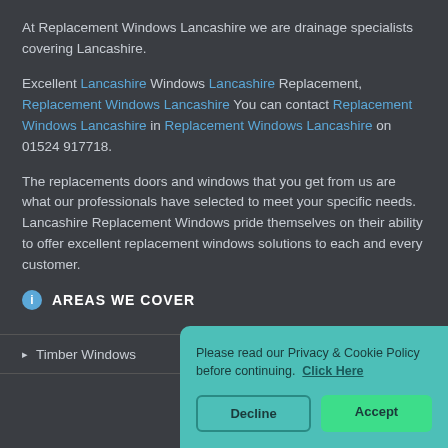At Replacement Windows Lancashire we are drainage specialists covering Lancashire.
Excellent Lancashire Windows Lancashire Replacement, Replacement Windows Lancashire You can contact Replacement Windows Lancashire in Replacement Windows Lancashire on 01524 917718.
The replacements doors and windows that you get from us are what our professionals have selected to meet your specific needs. Lancashire Replacement Windows pride themselves on their ability to offer excellent replacement windows solutions to each and every customer.
AREAS WE COVER
Timber Windows
Please read our Privacy & Cookie Policy before continuing. Click Here